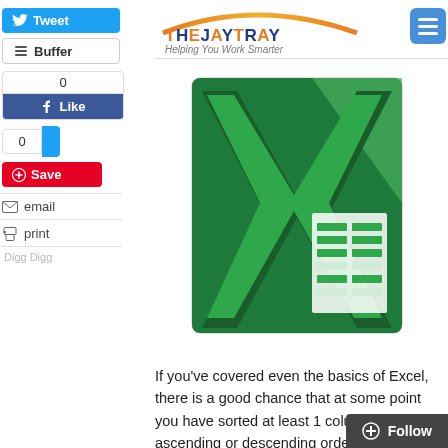[Figure (logo): TheJayTray website logo with orange arc and colorful text 'THEJAYTRAY' and subtitle 'Helping You Work Smarter']
[Figure (screenshot): Microsoft Excel logo icon — large green X with spreadsheet cells graphic on white/light background]
If you've covered even the basics of Excel, there is a good chance that at some point you have sorted at least 1 column of data in ascending or descending order.
[Figure (screenshot): Social sharing sidebar with Tweet, Buffer, Like (0), share count (0), Save (Pinterest), email, and print buttons. Digg Digg label at bottom.]
[Figure (other): Follow button (dark grey) at bottom right corner]